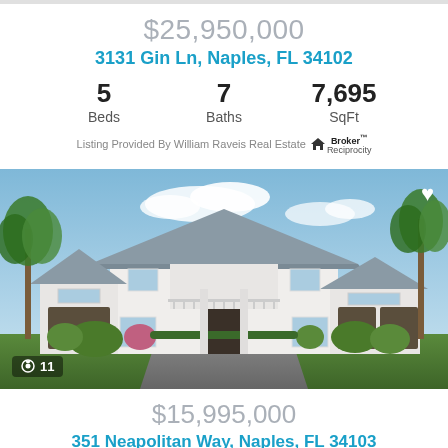$25,950,000
3131 Gin Ln, Naples, FL 34102
5 Beds  7 Baths  7,695 SqFt
Listing Provided By William Raveis Real Estate  Broker Reciprocity
[Figure (photo): Exterior rendering of a large white two-story luxury home with dark roof, balcony, attached garage, surrounded by palm trees and lush landscaping. Shows a photo count badge '11' in bottom left and a heart icon in top right.]
$15,995,000
351 Neapolitan Way, Naples, FL 34103